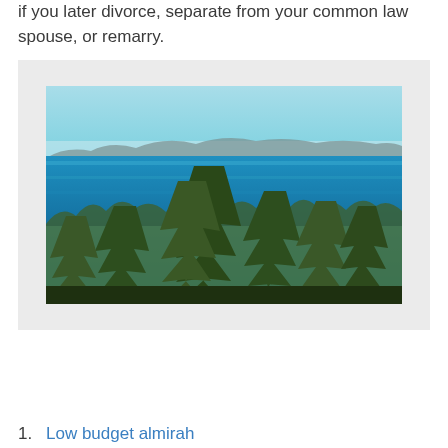if you later divorce, separate from your common law spouse, or remarry.
[Figure (photo): Landscape photo showing a forest of tall coniferous trees in the foreground with a large blue body of water and distant mountains in the background under a pale blue sky.]
1. Low budget almirah